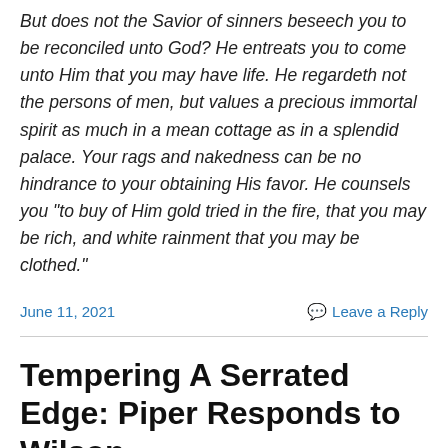But does not the Savior of sinners beseech you to be reconciled unto God? He entreats you to come unto Him that you may have life. He regardeth not the persons of men, but values a precious immortal spirit as much in a mean cottage as in a splendid palace. Your rags and nakedness can be no hindrance to your obtaining His favor. He counsels you “to buy of Him gold tried in the fire, that you may be rich, and white rainment that you may be clothed.”
Continue reading →
June 11, 2021
Leave a Reply
Tempering A Serrated Edge: Piper Responds to Wilson